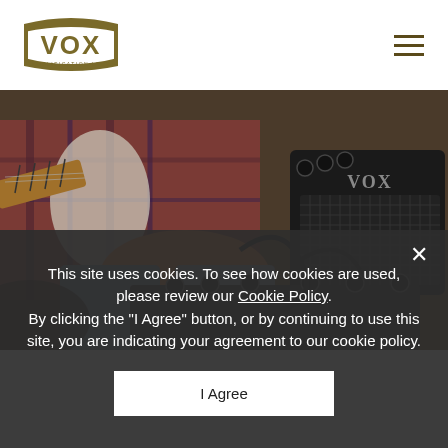[Figure (logo): VOX Amplification Ltd logo in gold/olive color with shield shape]
[Figure (photo): Photo of a person sitting with a guitar and a VOX mini amplifier, showing hands, guitar neck, jeans, plaid shirt, and the black VOX amp with knobs on top]
This site uses cookies. To see how cookies are used, please review our Cookie Policy. By clicking the "I Agree" button, or by continuing to use this site, you are indicating your agreement to our cookie policy.
I Agree